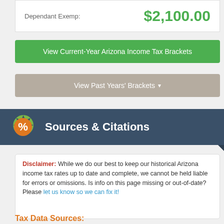| Dependant Exemp: |  |
| --- | --- |
| Dependant Exemp: | $2,100.00 |
View Current-Year Arizona Income Tax Brackets
View Past Years' Brackets ▾
Sources & Citations
Disclaimer: While we do our best to keep our historical Arizona income tax rates up to date and complete, we cannot be held liable for errors or omissions. Is info on this page missing or out-of-date? Please let us know so we can fix it!
Tax Data Sources:
1. The Arizona tax brackets on this page sourced